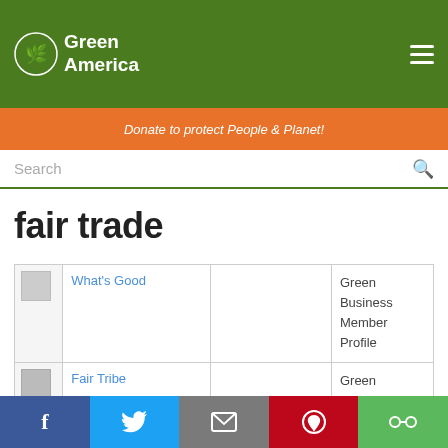Green America
Donate to protect People & Planet!
Search
fair trade
|  | Name |  | Type |
| --- | --- | --- | --- |
|  | What's Good |  | Green Business Member Profile |
|  | Fair Tribe |  | Green Business Member Profile |